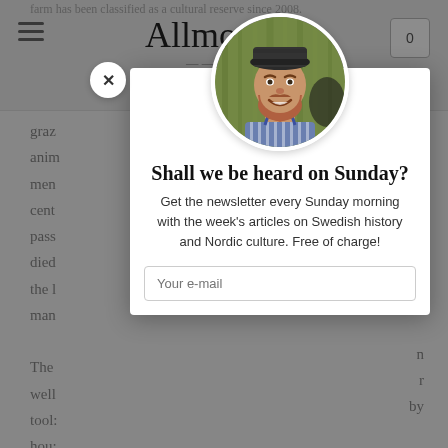Allmogens
farm has been classified as a cultural reserve since 2008.
graz
anim
men
cent
pass
died
the l
man

The
well
tool:
hou:
two
olde
[Figure (photo): Circular portrait photo of a smiling man with a beard wearing a flat cap and striped shirt]
Shall we be heard on Sunday?
Get the newsletter every Sunday morning with the week's articles on Swedish history and Nordic culture. Free of charge!
Your e-mail